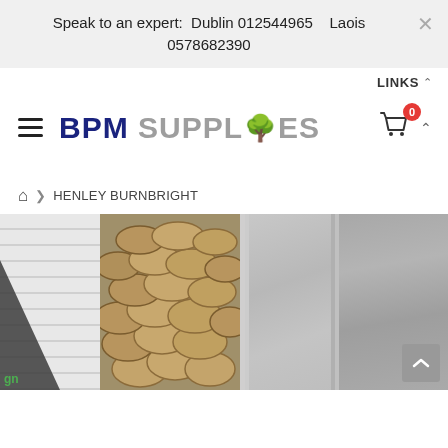Speak to an expert: Dublin 012544965   Laois 0578682390
LINKS
[Figure (logo): BPM Supplies logo with tree icon replacing the letter I, in blue and grey text]
HENLEY BURNBRIGHT
[Figure (photo): Product hero image showing stacked firewood logs, grey concrete/slate textures, and wood panel backgrounds]